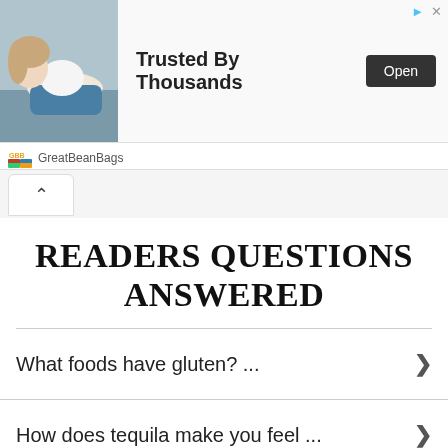[Figure (screenshot): Advertisement banner for GreatBeanBags showing a woman lying on a beanbag, with text 'Trusted By Thousands' and an 'Open' button]
READERS QUESTIONS ANSWERED
What foods have gluten? ...
How does tequila make you feel ...
What is a thong used for ...